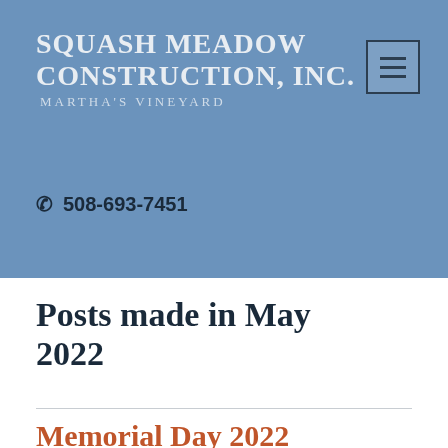Squash Meadow Construction, Inc. Martha's Vineyard
508-693-7451
Posts made in May 2022
Memorial Day 2022
Memorial Day push us upon us. We have one modular job completed this week as well as a finished basement and bathroom renovation